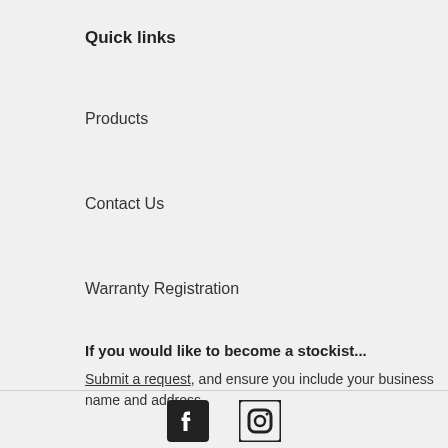Quick links
Products
Contact Us
Warranty Registration
If you would like to become a stockist...
Submit a request, and ensure you include your business name and address.
[Figure (illustration): Facebook and Instagram social media icons]